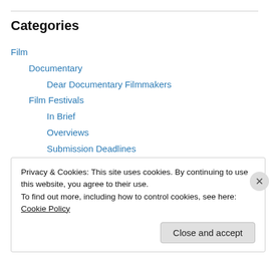Categories
Film
Documentary
Dear Documentary Filmmakers
Film Festivals
In Brief
Overviews
Submission Deadlines
Sundance
Funding Deadlines
In the Works
Privacy & Cookies: This site uses cookies. By continuing to use this website, you agree to their use.
To find out more, including how to control cookies, see here: Cookie Policy